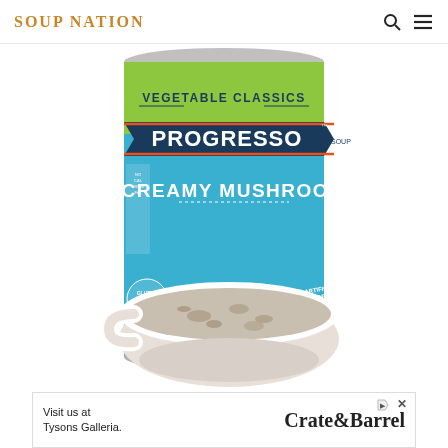SOUP NATION
[Figure (photo): Progresso Vegetable Classics Creamy Mushroom soup can with a bowl of creamy mushroom soup in the foreground. The can has a green and blue label reading VEGETABLE CLASSICS, PROGRESSO SOUP, CREAMY MUSHROOM, NO ARTIFICIAL FLAVORS, and a GLUTEN FREE badge.]
[Figure (infographic): Advertisement banner: Visit us at Tysons Galleria. Crate&Barrel]